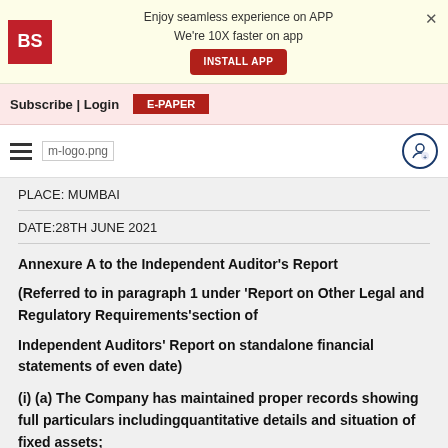Enjoy seamless experience on APP
We're 10X faster on app
INSTALL APP
Subscribe | Login E-PAPER
m-logo.png
PLACE: MUMBAI
DATE:28TH JUNE 2021
Annexure A to the Independent Auditor's Report
(Referred to in paragraph 1 under 'Report on Other Legal and Regulatory Requirements'section of
Independent Auditors' Report on standalone financial statements of even date)
(i) (a) The Company has maintained proper records showing full particulars includingquantitative details and situation of fixed assets;